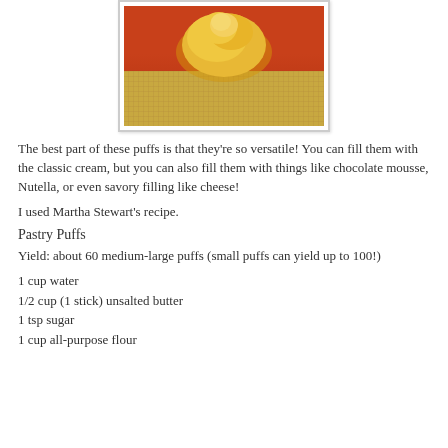[Figure (photo): Photo of a golden pastry puff on a woven mat/silicone baking mat against a red background, inside a light gray bordered frame.]
The best part of these puffs is that they're so versatile! You can fill them with the classic cream, but you can also fill them with things like chocolate mousse, Nutella, or even savory filling like cheese!
I used Martha Stewart's recipe.
Pastry Puffs
Yield: about 60 medium-large puffs (small puffs can yield up to 100!)
1 cup water
1/2 cup (1 stick) unsalted butter
1 tsp sugar
1 cup all-purpose flour